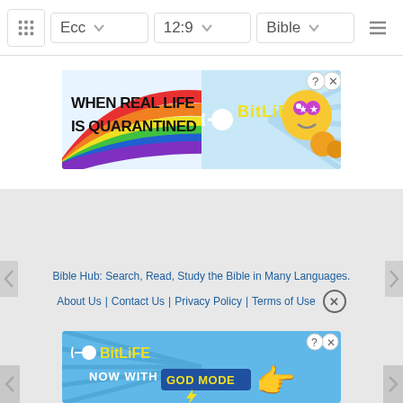Ecc | 12:9 | Bible
[Figure (screenshot): BitLife advertisement banner: 'WHEN REAL LIFE IS QUARANTINED' with BitLife logo and emoji mascot]
[Figure (screenshot): BitLife advertisement banner bottom: 'NOW WITH GOD MODE' with hand pointing emoji]
Bible Hub: Search, Read, Study the Bible in Many Languages. About Us | Contact Us | Privacy Policy | Terms of Use